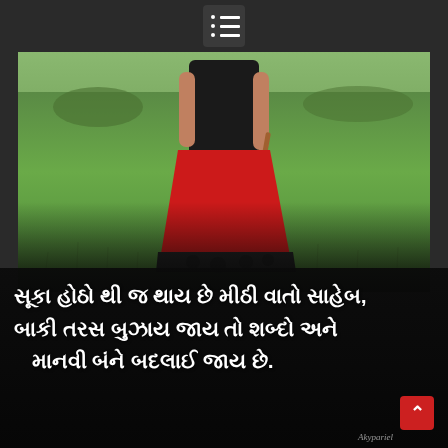[Figure (photo): A woman from behind, wearing a black top and red traditional skirt with decorative border, standing in a lush green grass field. Dark overlay at bottom with Gujarati text overlay.]
સૂકા હોઠો થી જ થાય છે મીઠી વાતો સાહેબ, બાકી તરસ બુઝાય જાય તો શબ્દો અને માનવી બંને બદલાઈ જાય છે.